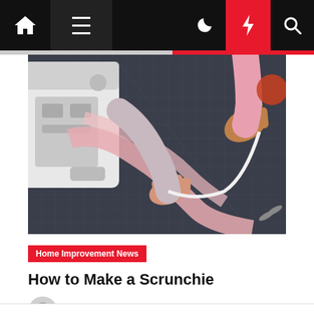Navigation bar with home, menu, dark mode, lightning, and search icons
[Figure (photo): Overhead view of two people working with a sewing machine and pink fabric on a dark cutting mat, pulling elastic or ribbon]
Home Improvement News
How to Make a Scrunchie
Ruth D. Adamson  9 months ago